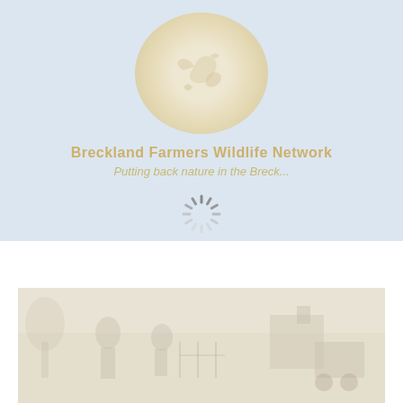[Figure (logo): Circular logo with wildlife/bird illustration, appearing faded/watermark style with golden-tan coloring]
Breckland Farmers Wildlife Network
Putting back nature in the Breck...
[Figure (other): Spinning/loading indicator (spinner with radial lines) shown in grey]
[Figure (photo): A very faded/washed-out photograph at the bottom showing what appears to be a rural or agricultural scene with figures and structures]